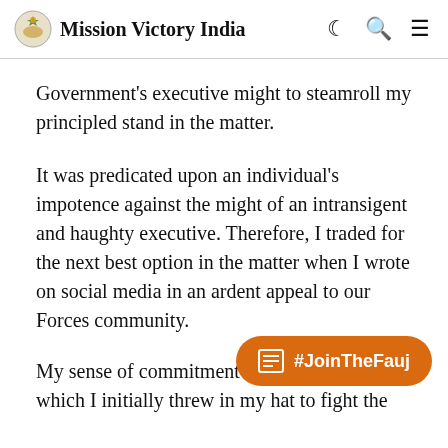Mission Victory India
Government's executive might to steamroll my principled stand in the matter.
It was predicated upon an individual's impotence against the might of an intransigent and haughty executive. Therefore, I traded for the next best option in the matter when I wrote on social media in an ardent appeal to our Forces community.
My sense of commitment to which I initially threw in my hat to fight the
[Figure (other): #JoinTheFauj button - orange rounded rectangle with newspaper icon and hashtag text]